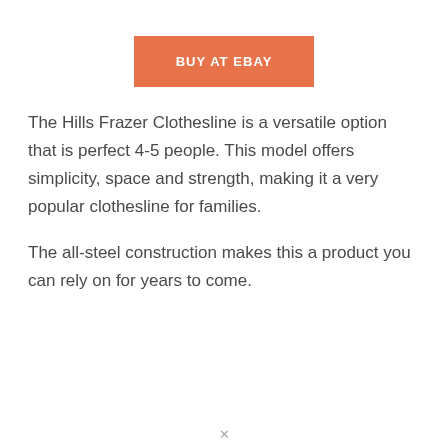[Figure (other): Orange/salmon colored button labeled BUY AT EBAY]
The Hills Frazer Clothesline is a versatile option that is perfect 4-5 people. This model offers simplicity, space and strength, making it a very popular clothesline for families.
The all-steel construction makes this a product you can rely on for years to come.